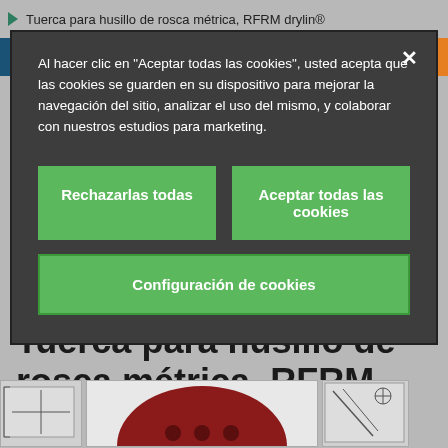Tuerca para husillo de rosca métrica, RFRM drylin®
Al hacer clic en "Aceptar todas las cookies", usted acepta que las cookies se guarden en su dispositivo para mejorar la navegación del sitio, analizar el uso del mismo, y colaborar con nuestros estudios para marketing.
Rechazarlas todas
Aceptar todas las cookies
Configuración de cookies
Tuerca para husillo de rosca métrica, RFRM drylin®
[Figure (photo): Product image of RFRM drylin nut - dark red/maroon semi-circular component with holes, plus engineering diagrams on sides]